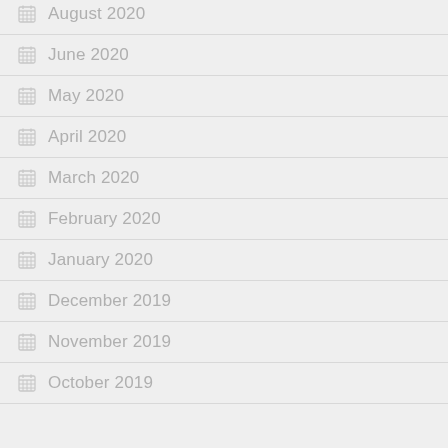August 2020
June 2020
May 2020
April 2020
March 2020
February 2020
January 2020
December 2019
November 2019
October 2019